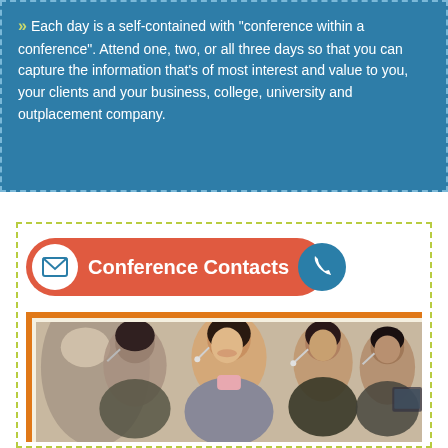Each day is a self-contained with “conference within a conference”. Attend one, two, or all three days so that you can capture the information that’s of most interest and value to you, your clients and your business, college, university and outplacement company.
Conference Contacts
[Figure (photo): Photo of smiling call center workers wearing headsets, seated in a row]